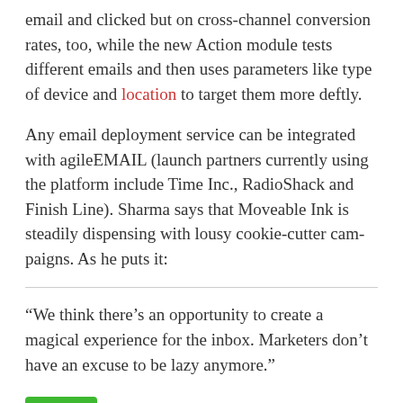email and clicked but on cross-channel conversion rates, too, while the new Action module tests different emails and then uses parameters like type of device and location to target them more deftly.
Any email deployment service can be integrated with agileEMAIL (launch partners currently using the platform include Time Inc., RadioShack and Finish Line). Sharma says that Moveable Ink is steadily dispensing with lousy cookie-cutter campaigns. As he puts it:
“We think there’s an opportunity to create a magical experience for the inbox. Marketers don’t have an excuse to be lazy anymore.”
[Figure (other): Green button partially visible at bottom of page]